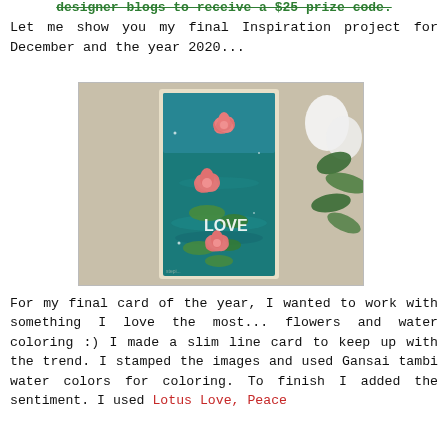designer blogs to receive a $25 prize code.
Let me show you my final Inspiration project for December and the year 2020...
[Figure (photo): A handmade slim line card featuring pink lotus/water lily flowers and lily pads on a teal/blue watercolor background with the word LOVE in white text, surrounded by white tulips and green leaves on a stone surface.]
For my final card of the year, I wanted to work with something I love the most... flowers and water coloring :) I made a slim line card to keep up with the trend. I stamped the images and used Gansai tambi water colors for coloring. To finish I added the sentiment. I used Lotus Love, Peace